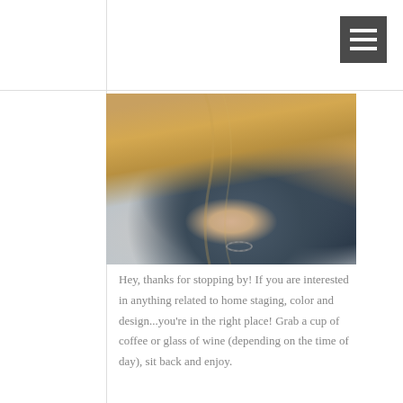[Figure (photo): Woman with blonde hair wearing a dark blue/grey knit sweater, seated with arms crossed showing a bracelet on her wrist. Background is blurred.]
Hey, thanks for stopping by! If you are interested in anything related to home staging, color and design...you're in the right place! Grab a cup of coffee or glass of wine (depending on the time of day), sit back and enjoy.